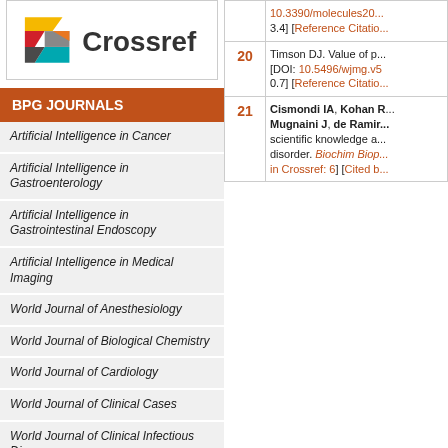[Figure (logo): Crossref logo with colorful geometric shapes and the word Crossref]
BPG JOURNALS
Artificial Intelligence in Cancer
Artificial Intelligence in Gastroenterology
Artificial Intelligence in Gastrointestinal Endoscopy
Artificial Intelligence in Medical Imaging
World Journal of Anesthesiology
World Journal of Biological Chemistry
World Journal of Cardiology
World Journal of Clinical Cases
World Journal of Clinical Infectious Diseases
World Journal of Clinical Oncology
World Journal of Clinical Pediatrics
| Ref | Citation |
| --- | --- |
|  | 10.3390/molecules20... 3.4] [Reference Citatio... |
| 20 | Timson DJ. Value of p... [DOI: 10.5496/wjmg.v5... 0.7] [Reference Citatio... |
| 21 | Cismondi IA, Kohan R... Mugnaini J, de Ramin... scientific knowledge a... disorder. Biochim Biop... in Crossref: 6] [Cited b... |